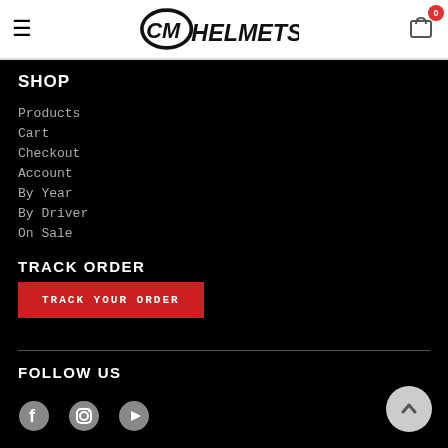[Figure (logo): CM Helmets logo with hamburger menu and cart icon with badge '0']
SHOP
Products
Cart
Checkout
Account
By Year
By Driver
On Sale
TRACK ORDER
TRACK YOUR ORDER
FOLLOW US
[Figure (illustration): Social media icons: Facebook, Instagram, YouTube]